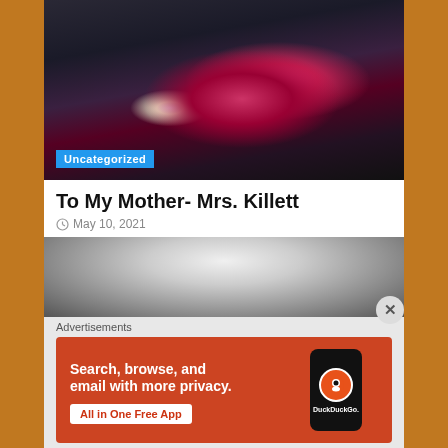[Figure (photo): Two women, one in a dark blazer holding a red flower bouquet, one in a white dress, standing together outdoors.]
Uncategorized
To My Mother- Mrs. Killett
May 10, 2021
[Figure (photo): Black and white close-up photo of a child with head bowed.]
Advertisements
[Figure (screenshot): DuckDuckGo advertisement: Search, browse, and email with more privacy. All in One Free App. Shows a phone with the DuckDuckGo logo.]